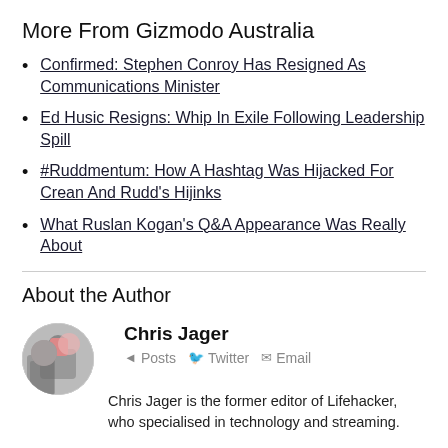More From Gizmodo Australia
Confirmed: Stephen Conroy Has Resigned As Communications Minister
Ed Husic Resigns: Whip In Exile Following Leadership Spill
#Ruddmentum: How A Hashtag Was Hijacked For Crean And Rudd's Hijinks
What Ruslan Kogan's Q&A Appearance Was Really About
About the Author
Chris Jager
Posts  Twitter  Email
Chris Jager is the former editor of Lifehacker, who specialised in technology and streaming.